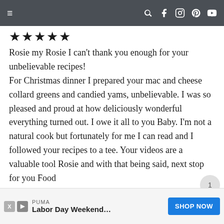≡   [search] [facebook] [instagram] [pinterest] [youtube]
[Figure (other): Five filled black stars rating]
Rosie my Rosie I can't thank you enough for your unbelievable recipes! For Christmas dinner I prepared your mac and cheese collard greens and candied yams, unbelievable. I was so pleased and proud at how deliciously wonderful everything turned out. I owe it all to you Baby. I'm not a natural cook but fortunately for me I can read and I followed your recipes to a tee. Your videos are a valuable tool Rosie and with that being said, next stop for you Food
[Figure (infographic): PUMA Labor Day Weekend advertisement banner with SHOP NOW button]